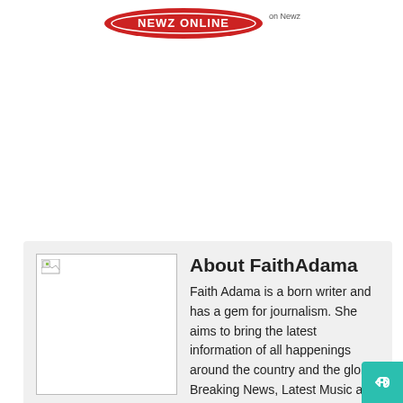[Figure (logo): Newz Online logo with red oval badge and text 'on Newz Online']
[Figure (photo): Author photo placeholder for FaithAdama (broken image icon visible)]
About FaithAdama
Faith Adama is a born writer and has a gem for journalism. She aims to bring the latest information of all happenings around the country and the globe. Breaking News, Latest Music and music videos, sports news and entertainment news.